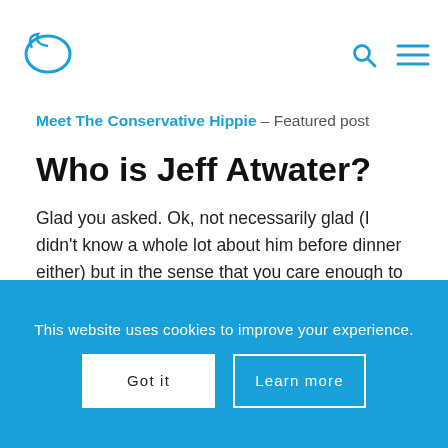[Figure (logo): Blue dolphin/fish logo outline]
[Figure (illustration): Blue search icon (magnifying glass) and hamburger menu icon in top right]
Meet The Conservative Hippie – Featured post
Who is Jeff Atwater?
Glad you asked. Ok, not necessarily glad (I didn't know a whole lot about him before dinner either) but in the sense that you care enough to be reading this article to find out, I am glad. Mostly
This website uses cookies to improve your experience.
Got it
Learn more